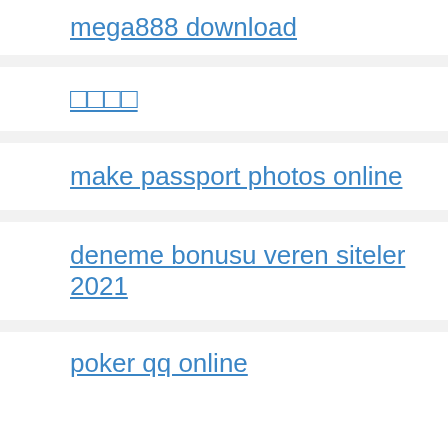mega888 download
□□□□
make passport photos online
deneme bonusu veren siteler 2021
poker qq online